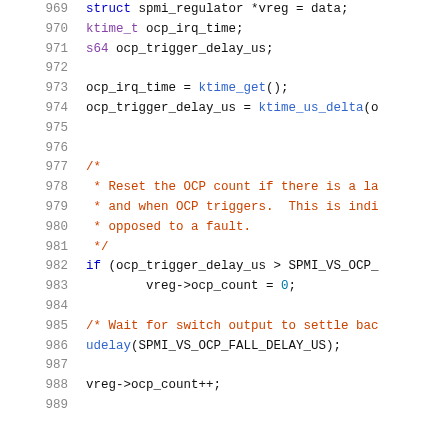969    struct spmi_regulator *vreg = data;
970    ktime_t ocp_irq_time;
971    s64 ocp_trigger_delay_us;
972
973    ocp_irq_time = ktime_get();
974    ocp_trigger_delay_us = ktime_us_delta(o
975
976
977    /*
978     * Reset the OCP count if there is a la
979     * and when OCP triggers.  This is indi
980     * opposed to a fault.
981     */
982    if (ocp_trigger_delay_us > SPMI_VS_OCP_
983            vreg->ocp_count = 0;
984
985    /* Wait for switch output to settle bac
986    udelay(SPMI_VS_OCP_FALL_DELAY_US);
987
988    vreg->ocp_count++;
989